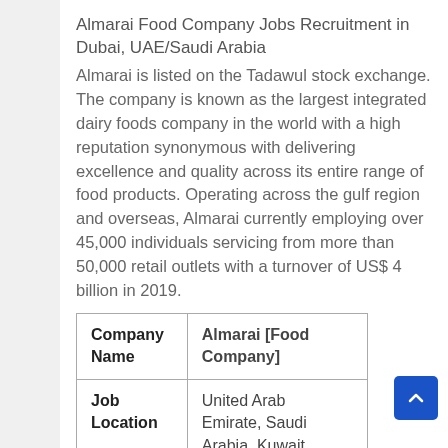Almarai Food Company Jobs Recruitment in Dubai, UAE/Saudi Arabia
Almarai is listed on the Tadawul stock exchange. The company is known as the largest integrated dairy foods company in the world with a high reputation synonymous with delivering excellence and quality across its entire range of food products. Operating across the gulf region and overseas, Almarai currently employing over 45,000 individuals servicing from more than 50,000 retail outlets with a turnover of US$ 4 billion in 2019.
| Company Name | Almarai [Food Company] |
| --- | --- |
| Job Location | United Arab Emirate, Saudi Arabia, Kuwait |
| Nationality | All Nationalities |